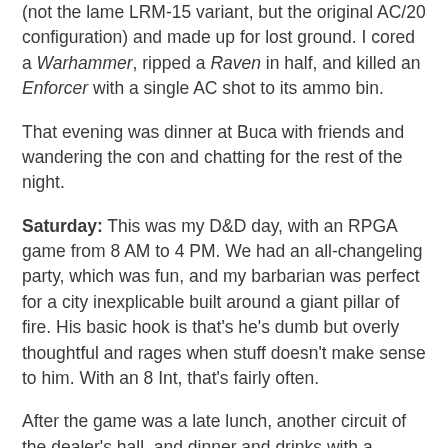(not the lame LRM-15 variant, but the original AC/20 configuration) and made up for lost ground. I cored a Warhammer, ripped a Raven in half, and killed an Enforcer with a single AC shot to its ammo bin.
That evening was dinner at Buca with friends and wandering the con and chatting for the rest of the night.
Saturday: This was my D&D day, with an RPGA game from 8 AM to 4 PM. We had an all-changeling party, which was fun, and my barbarian was perfect for a city inexplicable built around a giant pillar of fire. His basic hook is that's he's dumb but overly thoughtful and rages when stuff doesn't make sense to him. With an 8 Int, that's fairly often.
After the game was a late lunch, another circuit of the dealer's hall, and dinner and drinks with a number of game industry folks. We swapped stories about pets and weird fans. Good times!
Sunday: The final day of GenCon always has a bit of a melancholy tinge to it, at least for me. I played some more BattleTech with a friend, at least for a little bit, at least...